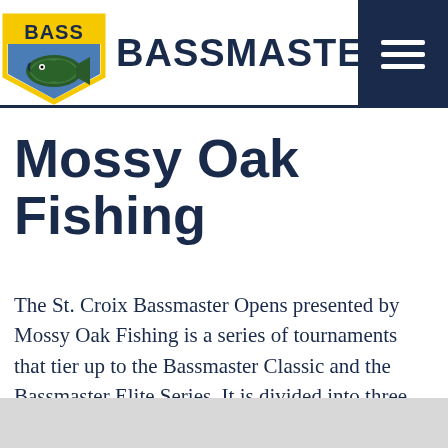[Figure (logo): Bassmaster logo with BASS shield badge and fish, next to bold BASSMASTER. text, with dark navy hamburger menu icon on right]
Mossy Oak Fishing
The St. Croix Bassmaster Opens presented by Mossy Oak Fishing is a series of tournaments that tier up to the Bassmaster Classic and the Bassmaster Elite Series. It is divided into three regions: Northern, Southern and Central.
Opens fields are made up of pros and co-anglers.